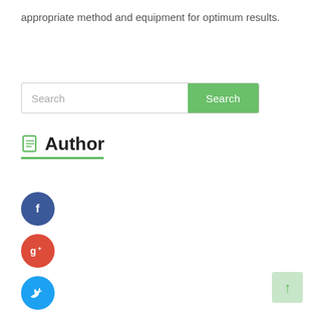appropriate method and equipment for optimum results.
[Figure (screenshot): Search bar with green Search button]
Author
[Figure (infographic): Social media icons: Facebook (blue circle with f), Google+ (red circle with g+), Twitter (blue circle with bird), More/Plus (dark blue circle with +)]
[Figure (other): Back to top arrow button in light green]